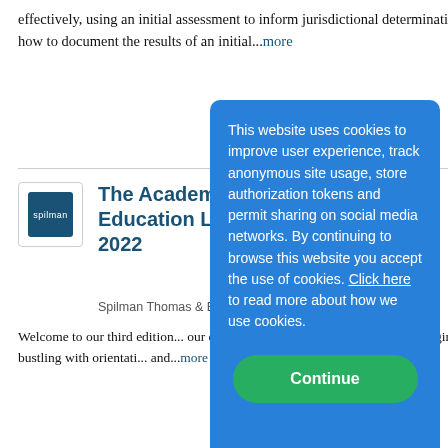effectively, using an initial assessment to inform jurisdictional determinations, and how to document the results of an initial...more
The Academic A... Education Law I... 2022
Spilman Thomas & Battle, P...
Welcome to our third edition... our e-newsletter focused on... fall semester begins, your so... doubt bustling with orientati... and...more
The Intersectio... Harassment and... - Are You Charging Respondents Correctly Under...
This website uses cookies to improve user experience, track anonymous site usage, store authorization tokens and permit sharing on social media networks. By continuing to browse this website you accept the use of cookies. Click here to read more about how we use cookies.